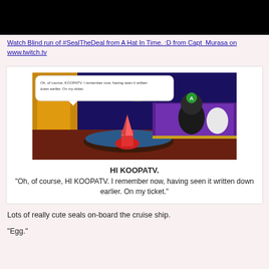[Figure (screenshot): Black banner/header area at top of page, appears to be a cropped video/stream screenshot showing a dark scene.]
Watch Blind run of #SealTheDeal from A Hat In Time. :D from Capt_Murasa on www.twitch.tv
[Figure (screenshot): Game screenshot from A Hat In Time showing a cruise ship interior scene with dialogue bubble reading: 'Oh, of course, KOOPATV. I remember now, having seen it written down earlier. On my ticket.' with characters visible including a figure in pink/red costume and a dark creature.]
HI KOOPATV.
"Oh, of course, HI KOOPATV. I remember now, having seen it written down earlier. On my ticket."
Lots of really cute seals on-board the cruise ship.
“Egg.”